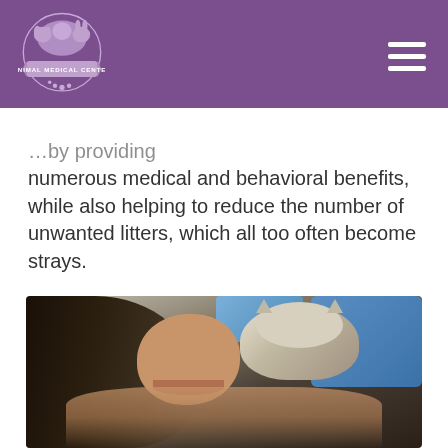Animal Medical Center
…by providing numerous medical and behavioral benefits, while also helping to reduce the number of unwanted litters, which all too often become strays.
[Figure (photo): A smiling woman in a veterinary clinic holding up a small kitten (tabby and white) close to her face. Blue bags/supplies are visible in the background.]